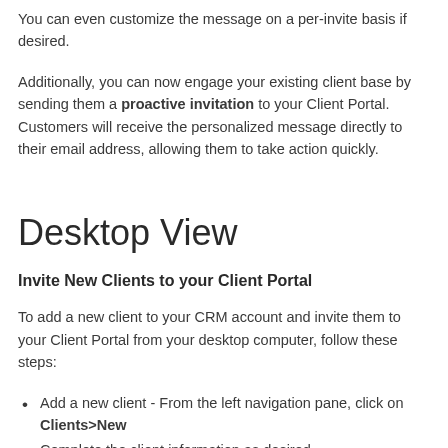You can even customize the message on a per-invite basis if desired.
Additionally, you can now engage your existing client base by sending them a proactive invitation to your Client Portal. Customers will receive the personalized message directly to their email address, allowing them to take action quickly.
Desktop View
Invite New Clients to your Client Portal
To add a new client to your CRM account and invite them to your Client Portal from your desktop computer, follow these steps:
Add a new client - From the left navigation pane, click on Clients>New
Complete the client information as desired